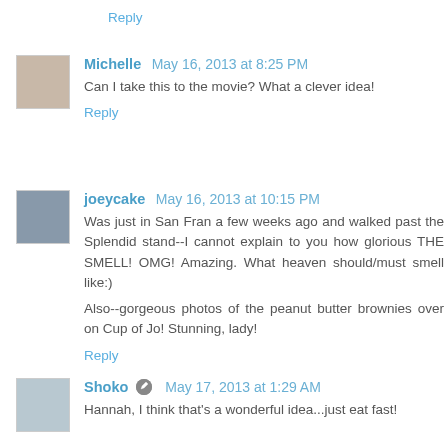Reply
Michelle  May 16, 2013 at 8:25 PM
Can I take this to the movie? What a clever idea!
Reply
joeycake  May 16, 2013 at 10:15 PM
Was just in San Fran a few weeks ago and walked past the Splendid stand--I cannot explain to you how glorious THE SMELL! OMG! Amazing. What heaven should/must smell like:)

Also--gorgeous photos of the peanut butter brownies over on Cup of Jo! Stunning, lady!
Reply
Shoko  May 17, 2013 at 1:29 AM
Hannah, I think that's a wonderful idea...just eat fast!